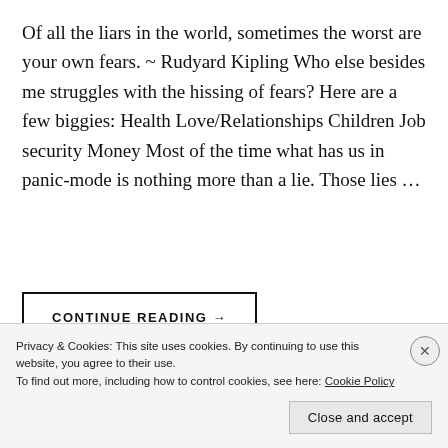Of all the liars in the world, sometimes the worst are your own fears. ~ Rudyard Kipling Who else besides me struggles with the hissing of fears? Here are a few biggies: Health Love/Relationships Children Job security Money Most of the time what has us in panic-mode is nothing more than a lie. Those lies …
CONTINUE READING →
Privacy & Cookies: This site uses cookies. By continuing to use this website, you agree to their use.
To find out more, including how to control cookies, see here: Cookie Policy
Close and accept